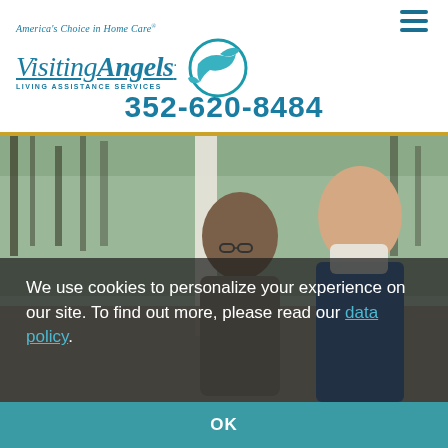[Figure (logo): Visiting Angels logo with tagline 'America's Choice in Home Care' and bird/circle graphic, Living Assistance Services subtitle]
352-620-8484
[Figure (photo): An elderly man and a masked female caregiver in blue uniform sitting together outdoors, trees visible in background]
We use cookies to personalize your experience on our site. To find out more, please read our data policy.
OK